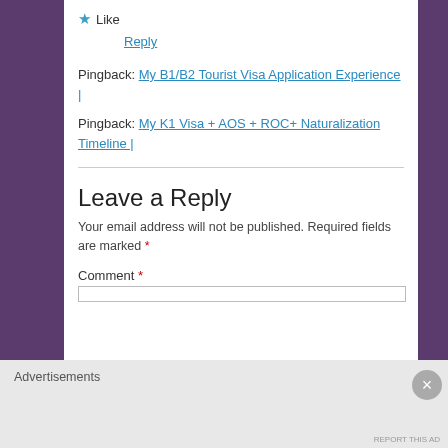★ Like
Reply
Pingback: My B1/B2 Tourist Visa Application Experience |
Pingback: My K1 Visa + AOS + ROC+ Naturalization Timeline |
Leave a Reply
Your email address will not be published. Required fields are marked *
Comment *
Advertisements